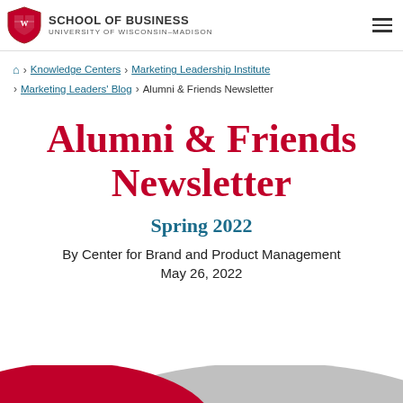SCHOOL OF BUSINESS — UNIVERSITY OF WISCONSIN–MADISON
🏠 > Knowledge Centers > Marketing Leadership Institute > Marketing Leaders' Blog > Alumni & Friends Newsletter
Alumni & Friends Newsletter
Spring 2022
By Center for Brand and Product Management
May 26, 2022
[Figure (illustration): Bottom decorative banner with red and grey curved shapes on white background]